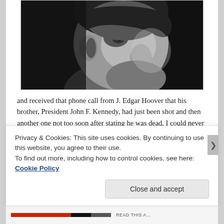[Figure (photo): Black and white close-up photograph of a man's face looking upward, profile/three-quarter view]
and received that phone call from J. Edgar Hoover that his brother, President John F. Kennedy, had just been shot and then another one not too soon after stating he was dead. I could never imagine the utter defeat his entire essence must have gone through at that moment. When
Privacy & Cookies: This site uses cookies. By continuing to use this website, you agree to their use.
To find out more, including how to control cookies, see here: Cookie Policy
Close and accept